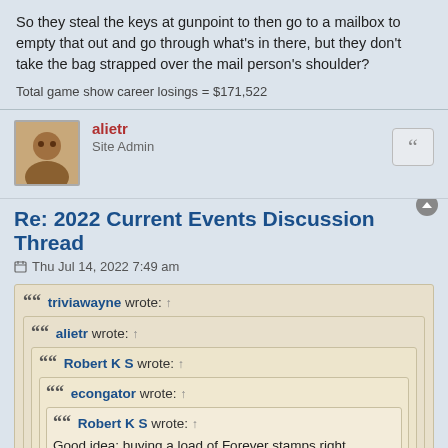So they steal the keys at gunpoint to then go to a mailbox to empty that out and go through what's in there, but they don't take the bag strapped over the mail person's shoulder?
Total game show career losings = $171,522
alietr
Site Admin
Re: 2022 Current Events Discussion Thread
Thu Jul 14, 2022 7:49 am
triviawayne wrote: ↑
alietr wrote: ↑
Robert K S wrote: ↑
econgator wrote: ↑
Robert K S wrote: ↑
Good idea: buying a load of Forever stamps right before they go up in price.